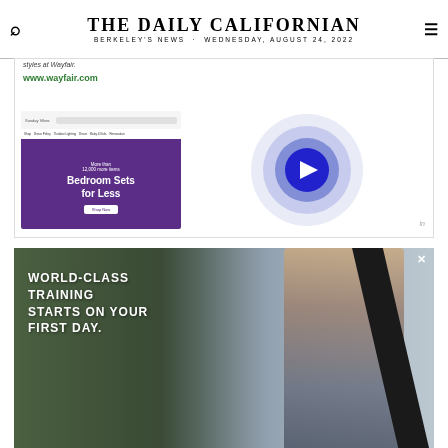THE DAILY CALIFORNIAN · BERKELEY'S NEWS · WEDNESDAY, AUGUST 24, 2022
[Figure (screenshot): Wayfair advertisement with purple bedroom sets banner and decorative concentric circles with play button]
styles at Wayfair.
www.wayfair.com
[Figure (photo): Advertisement showing a young man with guitar case, text reads: WORLD-CLASS TRAINING STARTS ON YOUR FIRST DAY.]